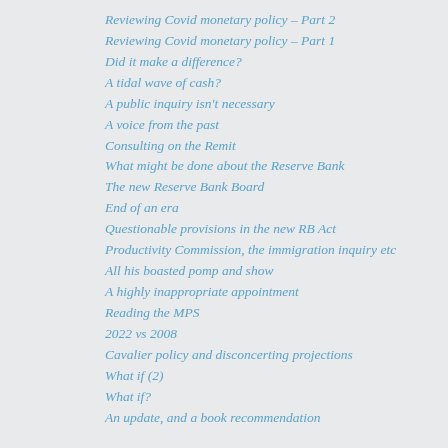Reviewing Covid monetary policy – Part 2
Reviewing Covid monetary policy – Part 1
Did it make a difference?
A tidal wave of cash?
A public inquiry isn't necessary
A voice from the past
Consulting on the Remit
What might be done about the Reserve Bank
The new Reserve Bank Board
End of an era
Questionable provisions in the new RB Act
Productivity Commission, the immigration inquiry etc
All his boasted pomp and show
A highly inappropriate appointment
Reading the MPS
2022 vs 2008
Cavalier policy and disconcerting projections
What if (2)
What if?
An update, and a book recommendation